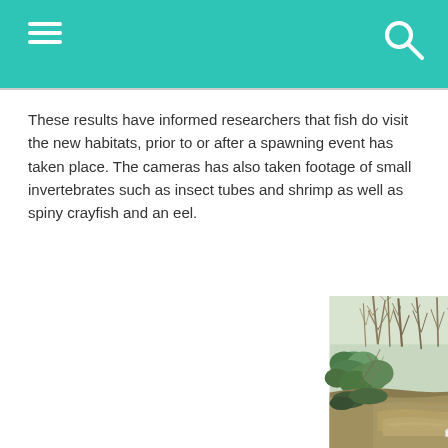These results have informed researchers that fish do visit the new habitats, prior to or after a spawning event has taken place. The cameras has also taken footage of small invertebrates such as insect tubes and shrimp as well as spiny crayfish and an eel.
[Figure (photo): Outdoor nature photo showing a creek or small river with muddy brown water running through a wooded area. Bare-branched trees and green shrubs line the banks. A large tree trunk is visible on the right side. A small white object (possibly monitoring equipment) is visible near the water's edge.]